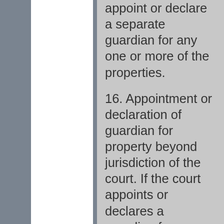appoint or declare a separate guardian for any one or more of the properties.
16. Appointment or declaration of guardian for property beyond jurisdiction of the court. If the court appoints or declares a guardian for any property situate beyond the local limits of its jurisdiction, the Court having jurisdiction in the place where the property is situate shall, on production of a certified copy of the order appointing or declaring the guardian accept him and he is to be